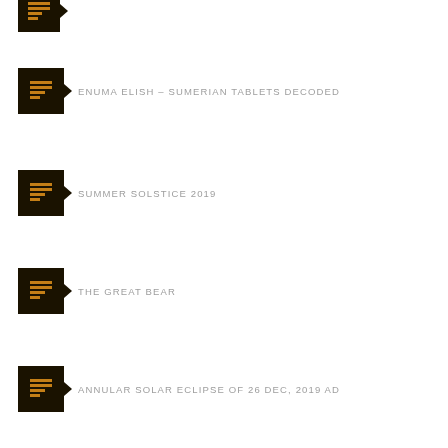(icon only - partial)
ENUMA ELISH – SUMERIAN TABLETS DECODED
SUMMER SOLSTICE 2019
THE GREAT BEAR
ANNULAR SOLAR ECLIPSE OF 26 DEC, 2019 AD
CASEBOOKS OF FORMAN AND NAPIER
INDIAN ASTRONOMY
PURUṢĀRTHA – THE FOUR PILLARS
PERSIAN DANCERS – NOWRUZ